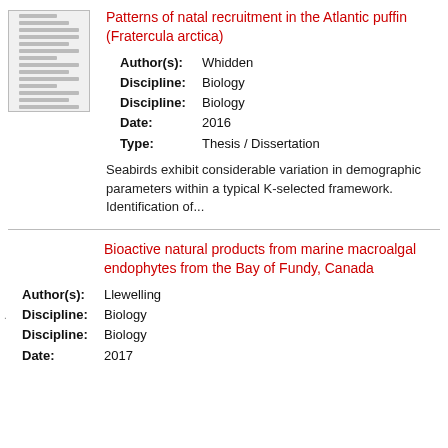[Figure (other): Thumbnail image of document cover page with text lines]
Patterns of natal recruitment in the Atlantic puffin (Fratercula arctica)
Author(s): Whidden
Discipline: Biology
Discipline: Biology
Date: 2016
Type: Thesis / Dissertation
Seabirds exhibit considerable variation in demographic parameters within a typical K-selected framework. Identification of...
Bioactive natural products from marine macroalgal endophytes from the Bay of Fundy, Canada
Author(s): Llewelling
Discipline: Biology
Discipline: Biology
Date: 2017